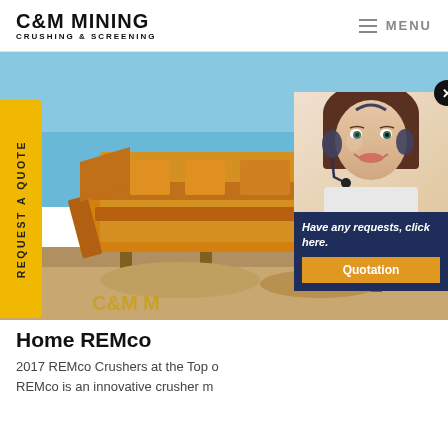C&M MINING CRUSHING & SCREENING | MENU
[Figure (photo): Mining crushing and screening machinery on an open-pit mine site with yellow industrial equipment against a blue sky background]
REQUEST A QUOTE
[Figure (photo): Customer service representative woman smiling wearing a headset, with chat popup overlay showing 'Have any requests, click here.' and a Quotation button]
Home REMco
2017 REMco Crushers at the Top o... REMco is an innovative crusher m...